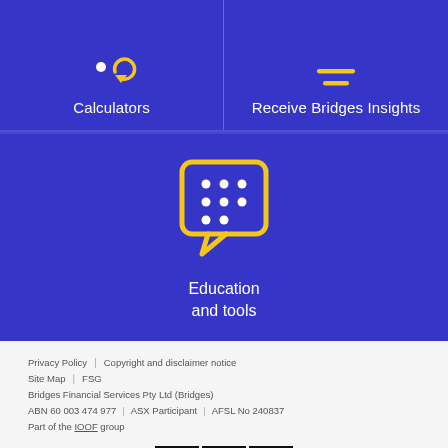[Figure (illustration): Blue banner split into two sections: left shows a calculator icon with white dot and yellow circular arrow, labeled 'Calculators'; right shows a yellow horizontal lines/menu icon, labeled 'Receive Bridges Insights']
Calculators
Receive Bridges Insights
[Figure (illustration): Blue banner with a yellow speech bubble icon containing white dots arranged in a grid pattern, centered on the banner]
Education
and tools
Privacy Policy | Copyright and disclaimer notice
Site Map | FSG
Bridges Financial Services Pty Ltd (Bridges)
ABN 60 003 474 977 | ASX Participant | AFSL No 240837
Part of the IOOF group
[Figure (illustration): Social media icons for Facebook, LinkedIn, and Twitter displayed in black square buttons]